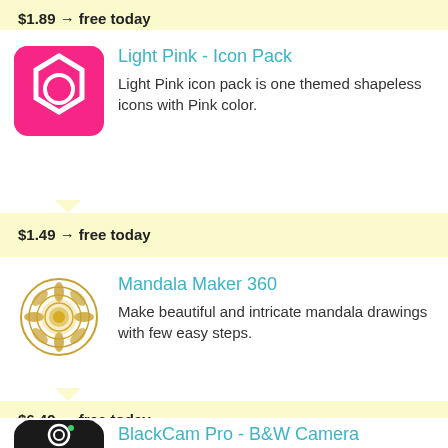$1.89 → free today
[Figure (illustration): Light Pink Icon Pack app icon: pink square with white hexagon outline and pink circle in center]
Light Pink - Icon Pack
Light Pink icon pack is one themed shapeless icons with Pink color.
$1.49 → free today
[Figure (illustration): Mandala Maker 360 app icon: circular golden mandala pattern on white background]
Mandala Maker 360
Make beautiful and intricate mandala drawings with few easy steps.
$6.49 → free today
[Figure (illustration): BlackCam Pro - B&W Camera app icon: black rounded square with white camera lens design and green dot]
BlackCam Pro - B&W Camera